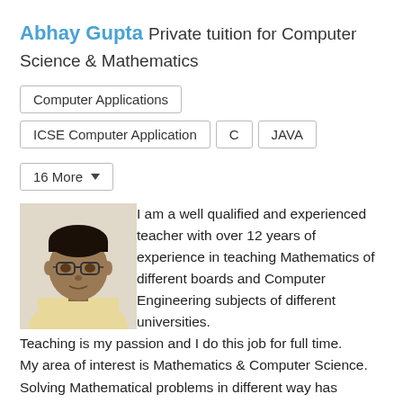Abhay Gupta Private tuition for Computer Science & Mathematics
Computer Applications
ICSE Computer Application
C
JAVA
16 More
[Figure (photo): Profile photo of Abhay Gupta, a man wearing glasses and a light yellow shirt]
I am a well qualified and experienced teacher with over 12 years of experience in teaching Mathematics of different boards and Computer Engineering subjects of different universities.
Teaching is my passion and I do this job for full time.
My area of interest is Mathematics & Computer Science.
Solving Mathematical problems in different way has